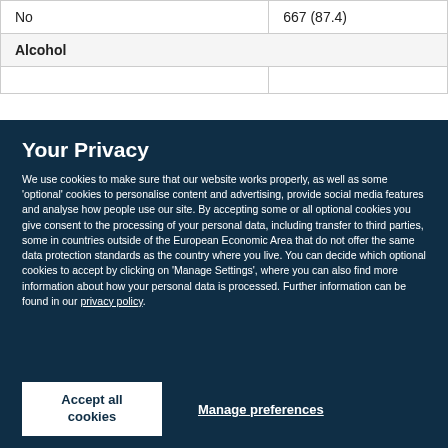|  | n (%) |
| --- | --- |
| No | 667 (87.4) |
| Alcohol |  |
Your Privacy
We use cookies to make sure that our website works properly, as well as some 'optional' cookies to personalise content and advertising, provide social media features and analyse how people use our site. By accepting some or all optional cookies you give consent to the processing of your personal data, including transfer to third parties, some in countries outside of the European Economic Area that do not offer the same data protection standards as the country where you live. You can decide which optional cookies to accept by clicking on 'Manage Settings', where you can also find more information about how your personal data is processed. Further information can be found in our privacy policy.
Accept all cookies
Manage preferences